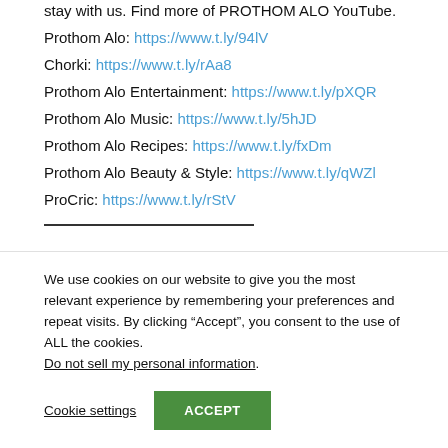stay with us. Find more of PROTHOM ALO YouTube.
Prothom Alo: https://www.t.ly/94lV
Chorki: https://www.t.ly/rAa8
Prothom Alo Entertainment: https://www.t.ly/pXQR
Prothom Alo Music: https://www.t.ly/5hJD
Prothom Alo Recipes: https://www.t.ly/fxDm
Prothom Alo Beauty & Style: https://www.t.ly/qWZl
ProCric: https://www.t.ly/rStV
We use cookies on our website to give you the most relevant experience by remembering your preferences and repeat visits. By clicking “Accept”, you consent to the use of ALL the cookies. Do not sell my personal information.
Cookie settings  ACCEPT